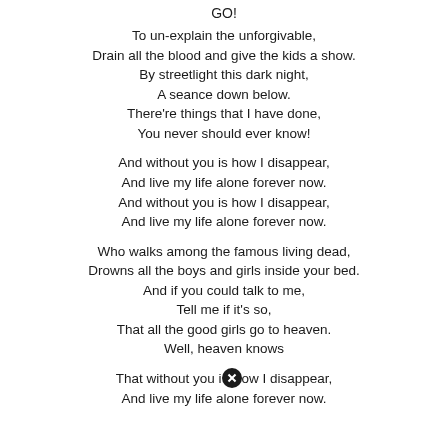GO!
To un-explain the unforgivable,
Drain all the blood and give the kids a show.
By streetlight this dark night,
A seance down below.
There're things that I have done,
You never should ever know!
And without you is how I disappear,
And live my life alone forever now.
And without you is how I disappear,
And live my life alone forever now.
Who walks among the famous living dead,
Drowns all the boys and girls inside your bed.
And if you could talk to me,
Tell me if it's so,
That all the good girls go to heaven.
Well, heaven knows
That without you is how I disappear,
And live my life alone forever now.